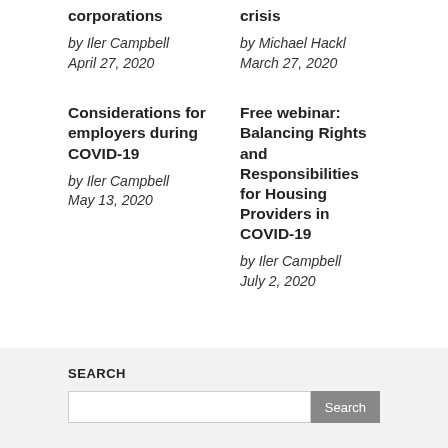corporations
crisis
by Iler Campbell
April 27, 2020
by Michael Hackl
March 27, 2020
Considerations for employers during COVID-19
by Iler Campbell
May 13, 2020
Free webinar: Balancing Rights and Responsibilities for Housing Providers in COVID-19
by Iler Campbell
July 2, 2020
SEARCH